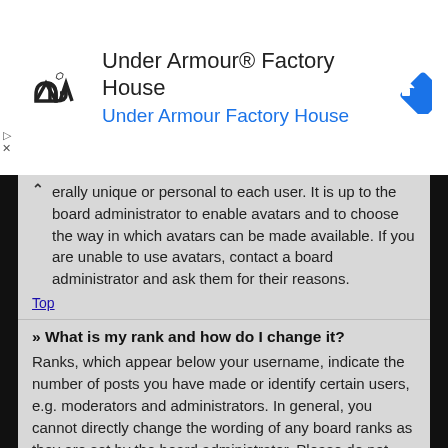[Figure (screenshot): Under Armour Factory House advertisement banner with logo on left, text in center, and navigation icon on right]
erally unique or personal to each user. It is up to the board administrator to enable avatars and to choose the way in which avatars can be made available. If you are unable to use avatars, contact a board administrator and ask them for their reasons. Top
» What is my rank and how do I change it?
Ranks, which appear below your username, indicate the number of posts you have made or identify certain users, e.g. moderators and administrators. In general, you cannot directly change the wording of any board ranks as they are set by the board administrator. Please do not abuse the board by posting unnecessarily just to increase your rank. Most boards will not tolerate this and the moderator or administrator will simply lower your post count. Top
» When I click the e-mail link for a user it asks me to login?
Only registered users can send e-mail to other users via the built-in e-mail form, and only if the administrator has enabled this feature. This is to prevent malicious use of the e-mail system by